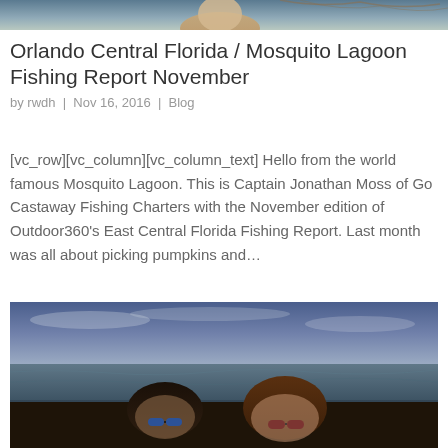[Figure (photo): Partial photo of a person at the top of the page, cropped]
Orlando Central Florida / Mosquito Lagoon Fishing Report November
by rwdh | Nov 16, 2016 | Blog
[vc_row][vc_column][vc_column_text] Hello from the world famous Mosquito Lagoon. This is Captain Jonathan Moss of Go Castaway Fishing Charters with the November edition of Outdoor360’s East Central Florida Fishing Report. Last month was all about picking pumpkins and…
[Figure (photo): Two people wearing sunglasses smiling, with ocean and sky in background]